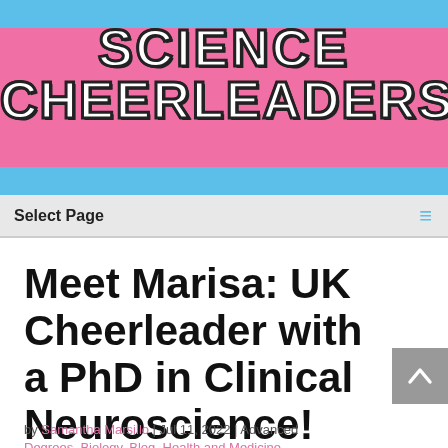[Figure (logo): Science Cheerleaders website logo banner with pink background, blue stripes top and bottom, white outlined block letters reading SCIENCE CHEERLEADERS]
Select Page
Meet Marisa: UK Cheerleader with a PhD in Clinical Neuroscience!
by Samantha Marsillo | Jul 11, 2022 | Advanced Degrees, Biology, Blog, Health and Medicine